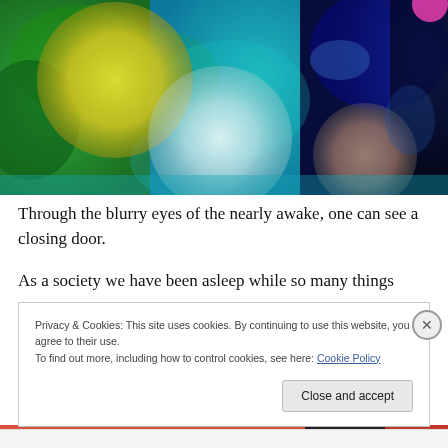[Figure (illustration): Abstract colorful painting with circular orb shapes on backgrounds of green, teal, and blue. Large yellow-green circle top left, large white orb center, smaller rose-brown circle right, pink dot upper right corner.]
Through the blurry eyes of the nearly awake, one can see a closing door.
As a society we have been asleep while so many things
Privacy & Cookies: This site uses cookies. By continuing to use this website, you agree to their use.
To find out more, including how to control cookies, see here: Cookie Policy
Close and accept